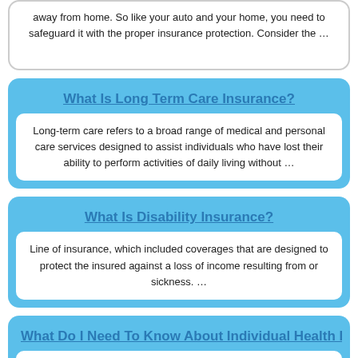away from home. So like your auto and your home, you need to safeguard it with the proper insurance protection. Consider the …
What Is Long Term Care Insurance?
Long-term care refers to a broad range of medical and personal care services designed to assist individuals who have lost their ability to perform activities of daily living without …
What Is Disability Insurance?
Line of insurance, which included coverages that are designed to protect the insured against a loss of income resulting from or sickness. …
What Do I Need To Know About Individual Health I
Health insurance also known as disability insurance, is insurance of